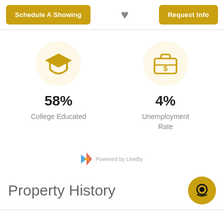[Figure (infographic): Two gold action buttons 'Schedule A Showing' and 'Request Info' with a heart icon in the center]
[Figure (infographic): Two stat cards: graduation cap icon with 58% College Educated, and briefcase/dollar icon with 4% Unemployment Rate]
58%
College Educated
4%
Unemployment Rate
[Figure (logo): LiveBy logo with colored triangles and text 'Powered by LiveBy']
Property History